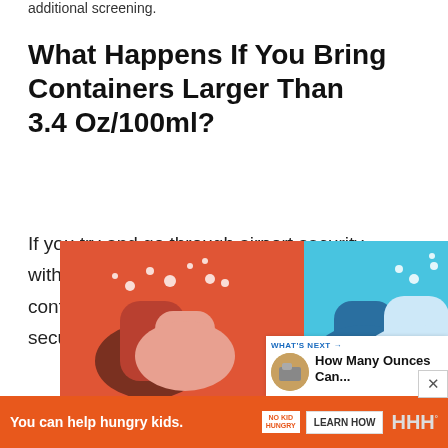additional screening.
What Happens If You Bring Containers Larger Than 3.4 Oz/100ml?
If you try and go through airport security with any liquid, gel or aerosol in a container that exceeds 3.4oz/100ml, a security agent will confiscate the item.
[Figure (illustration): Two-panel illustration showing hand washing steps on red and blue backgrounds]
[Figure (screenshot): What's Next panel with thumbnail and title 'How Many Ounces Can...']
[Figure (infographic): Orange ad banner: 'You can help hungry kids. NO KID HUNGRY LEARN HOW' with close button]